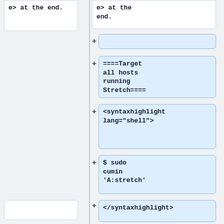e> at the end.
e> at the end.
====Target all hosts running Stretch====
<syntaxhighlight lang="shell">
$ sudo cumin 'A:stretch'
</syntaxhighlight>